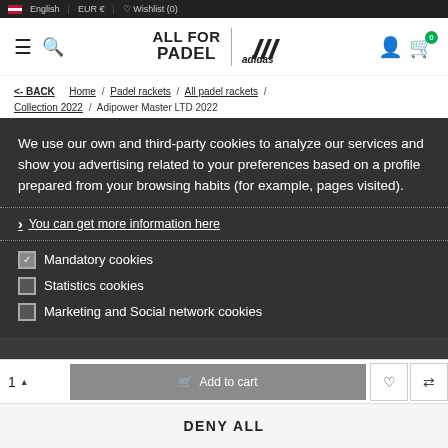English | EUR € | Wishlist (0)
[Figure (screenshot): Website header with hamburger menu, search icon, ALL FOR PADEL | adidas logo, user icon and cart icon with badge 0]
<- BACK Home / Padel rackets / All padel rackets / Collection 2022 / Adipower Master LTD 2022
We use our own and third-party cookies to analyze our services and show you advertising related to your preferences based on a profile prepared from your browsing habits (for example, pages visited).
You can get more information here
Mandatory cookies
Statistics cookies
Marketing and Social network cookies
DENY ALL